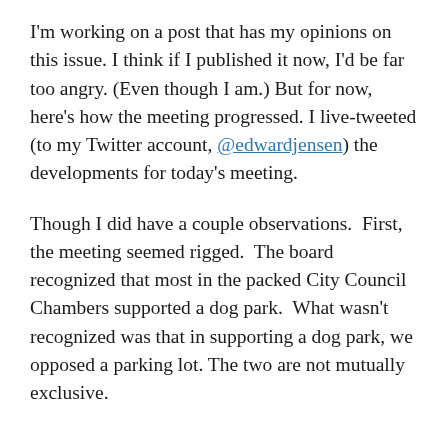I'm working on a post that has my opinions on this issue. I think if I published it now, I'd be far too angry. (Even though I am.) But for now, here's how the meeting progressed. I live-tweeted (to my Twitter account, @edwardjensen) the developments for today's meeting.
Though I did have a couple observations. First, the meeting seemed rigged. The board recognized that most in the packed City Council Chambers supported a dog park. What wasn't recognized was that in supporting a dog park, we opposed a parking lot. The two are not mutually exclusive.